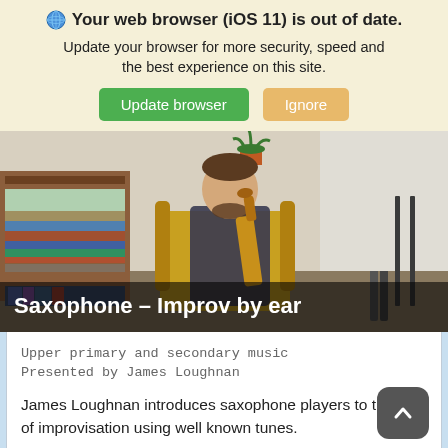Your web browser (iOS 11) is out of date.
Update your browser for more security, speed and the best experience on this site.
Update browser   Ignore
[Figure (photo): A man with a beard sits in a yellow chair holding a saxophone, in a room with bookshelves and a plant in the background.]
Saxophone – Improv by ear
Upper primary and secondary music
Presented by James Loughnan
James Loughnan introduces saxophone players to the art of improvisation using well known tunes.